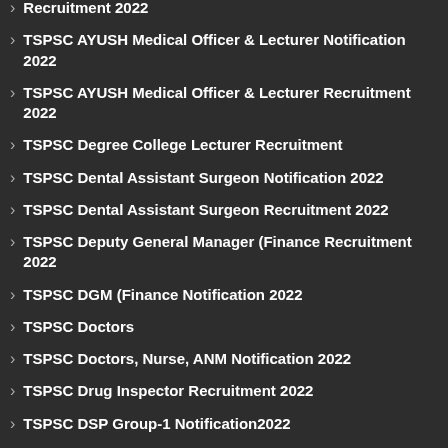Recruitment 2022
TSPSC AYUSH Medical Officer & Lecturer Notification 2022
TSPSC AYUSH Medical Officer & Lecturer Recruitment 2022
TSPSC Degree College Lecturer Recruitment
TSPSC Dental Assistant Surgeon Notification 2022
TSPSC Dental Assistant Surgeon Recruitment 2022
TSPSC Deputy General Manager (Finance Recruitment 2022
TSPSC DGM (Finance Notification 2022
TSPSC Doctors
TSPSC Doctors, Nurse, ANM Notification 2022
TSPSC Drug Inspector Recruitment 2022
TSPSC DSP Group-1 Notification2022